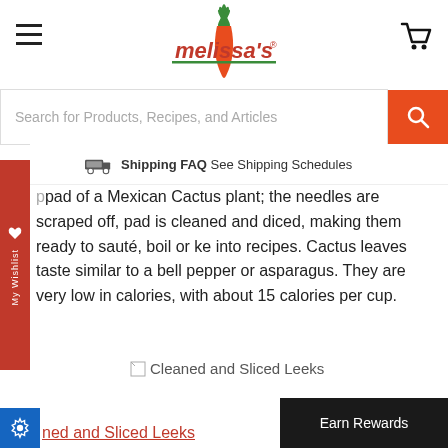[Figure (logo): Melissa's brand logo with carrot icon and stylized red text]
[Figure (screenshot): Search bar with orange search button]
[Figure (infographic): Shipping FAQ bar with truck icon]
pad of a Mexican Cactus plant; the needles are scraped off, pad is cleaned and diced, making them ready to sauté, boil or ke into recipes. Cactus leaves taste similar to a bell pepper or asparagus. They are very low in calories, with about 15 calories per cup.
[Figure (photo): Cleaned and Sliced Leeks product image (broken/loading)]
ned and Sliced Leeks